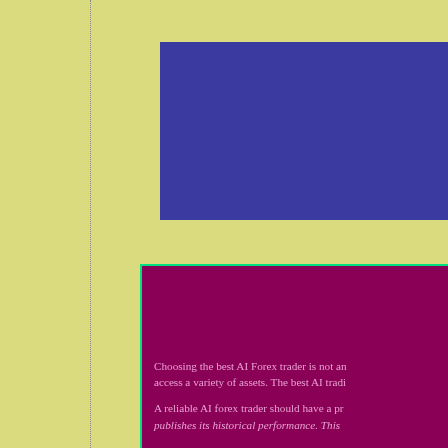[Figure (other): Yellow-green background with a dotted left border, a blue rectangle in the upper right, and a magenta/purple rectangle in the lower right with a bright green border.]
Choosing the best AI Forex trader is not an... access a variety of assets. The best AI tradi...
A reliable AI forex trader should have a pr... publishes its historical performance. This...